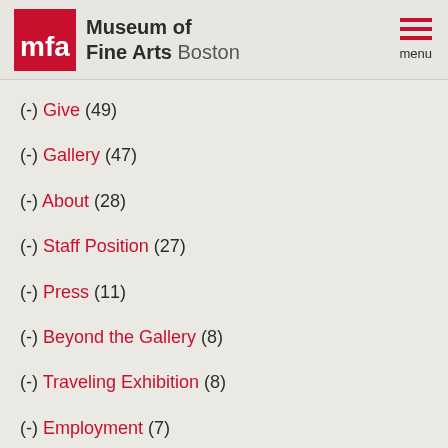Museum of Fine Arts Boston
(-) Give (49)
(-) Gallery (47)
(-) About (28)
(-) Staff Position (27)
(-) Press (11)
(-) Beyond the Gallery (8)
(-) Traveling Exhibition (8)
(-) Employment (7)
Looking for Artwork?
Please use our Collections Search to complete or